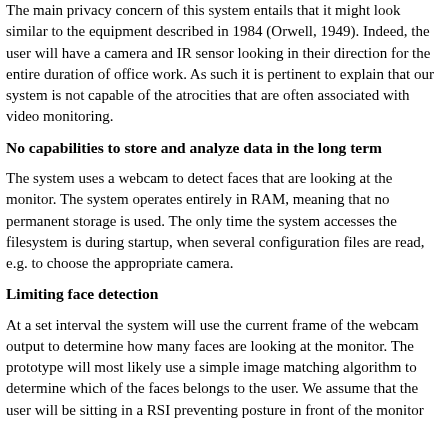The main privacy concern of this system entails that it might look similar to the equipment described in 1984 (Orwell, 1949). Indeed, the user will have a camera and IR sensor looking in their direction for the entire duration of office work. As such it is pertinent to explain that our system is not capable of the atrocities that are often associated with video monitoring.
No capabilities to store and analyze data in the long term
The system uses a webcam to detect faces that are looking at the monitor. The system operates entirely in RAM, meaning that no permanent storage is used. The only time the system accesses the filesystem is during startup, when several configuration files are read, e.g. to choose the appropriate camera.
Limiting face detection
At a set interval the system will use the current frame of the webcam output to determine how many faces are looking at the monitor. The prototype will most likely use a simple image matching algorithm to determine which of the faces belongs to the user. We assume that the user will be sitting in a RSI preventing posture in front of the monitor